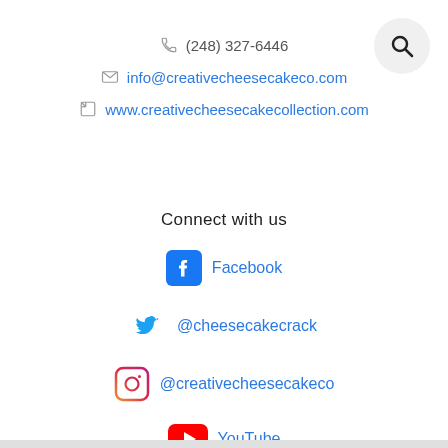(248) 327-6446
info@creativecheesecakeco.com
www.creativecheesecakecollection.com
Connect with us
Facebook
@cheesecakecrack
@creativecheesecakeco
YouTube